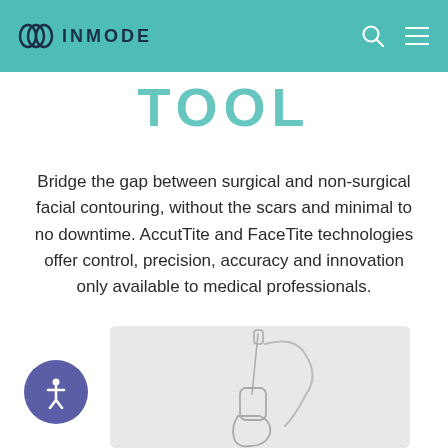INMODE
TOOL
Bridge the gap between surgical and non-surgical facial contouring, without the scars and minimal to no downtime. AccutTite and FaceTite technologies offer control, precision, accuracy and innovation only available to medical professionals.
[Figure (illustration): Line illustration of a medical device (AccutTite/FaceTite applicator) shown on a light grey background. The device has a handle with a needle probe extending upward and a cable.]